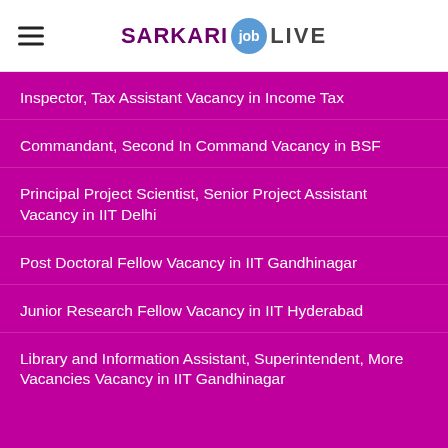SARKARI job LIVE
Inspector, Tax Assistant Vacancy in Income Tax
Commandant, Second In Command Vacancy in BSF
Principal Project Scientist, Senior Project Assistant Vacancy in IIT Delhi
Post Doctoral Fellow Vacancy in IIT Gandhinagar
Junior Research Fellow Vacancy in IIT Hyderabad
Library and Information Assistant, Superintendent, More Vacancies Vacancy in IIT Gandhinagar